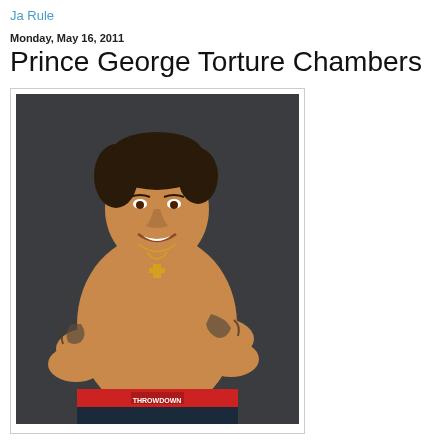Ja Rule
Monday, May 16, 2011
Prince George Torture Chambers
[Figure (photo): A muscular shirtless man with dark curly hair, arms crossed, wearing a red waistband and boxing shorts. He has tattoos on both upper arms and a gold cross necklace. Studio photo with dark background.]